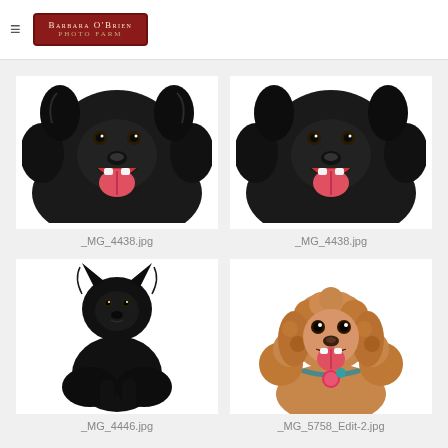Barbara O'Brien Photo Farm
[Figure (photo): Close-up portrait of a black fluffy dog with mouth open and tongue out, on white background]
_MG_4438.jpg
[Figure (photo): Close-up portrait of a black fluffy dog with mouth open and tongue out, on white background (duplicate)]
_MG_4438.jpg
[Figure (photo): Full body portrait of a black dog sitting, on white background]
_MG_4446.jpg
[Figure (photo): Portrait of a golden/apricot poodle with collar and tag, mouth open, on white background]
_MG_5758_Edit-2.jpg